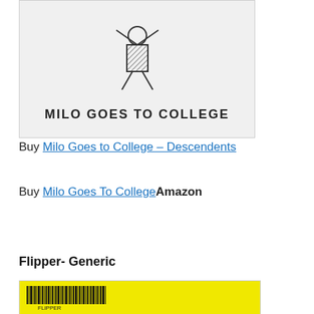[Figure (illustration): Album cover for 'Milo Goes to College' by Descendents, showing a stick figure character with the title text below on a light grey background.]
Buy Milo Goes to College – Descendents
Buy Milo Goes To CollegeAmazon
Flipper- Generic
[Figure (photo): Album cover for 'Generic' by Flipper, showing a barcode on a bright yellow background with 'FLIPPER' text underneath the barcode.]